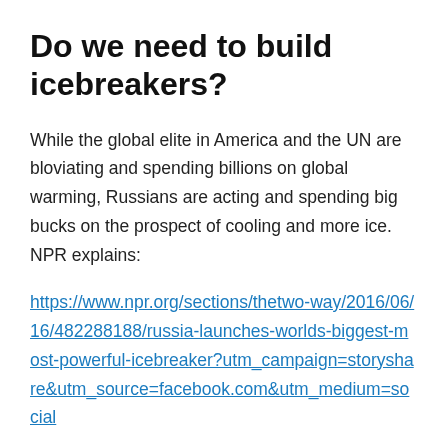Do we need to build icebreakers?
While the global elite in America and the UN are bloviating and spending billions on global warming, Russians are acting and spending big bucks on the prospect of cooling and more ice. NPR explains:
https://www.npr.org/sections/thetwo-way/2016/06/16/482288188/russia-launches-worlds-biggest-most-powerful-icebreaker?utm_campaign=storyshare&utm_source=facebook.com&utm_medium=social
A ship equally adept in the water and on the ice would be strategic militarily and economically.